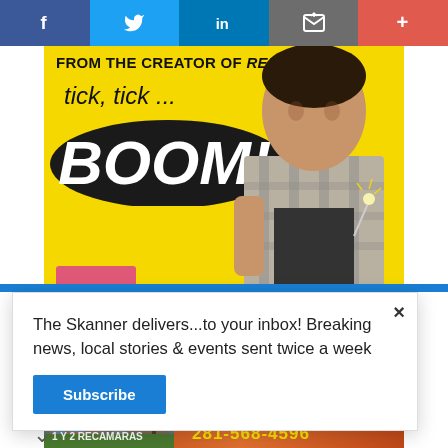[Figure (screenshot): Social media share bar with Facebook, Twitter, LinkedIn, email, and plus buttons]
[Figure (screenshot): Theatre advertisement for 'tick, tick... BOOM!' musical from the creator of RENT, yellow background with man and sparkler]
The Skanner delivers...to your inbox! Breaking news, local stories & events sent twice a week
Subscribe
[Figure (screenshot): Sedona Apartments advertisement in Spanish: 1 Y 2 RECAMARAS, RENTA TU APARTAMENTO, Y MUDATE HOY! iVEN Y VISITANOS!, 14402 Pavilion Point, Houston TX 77083, www.apartments.com, 281-568-4596]